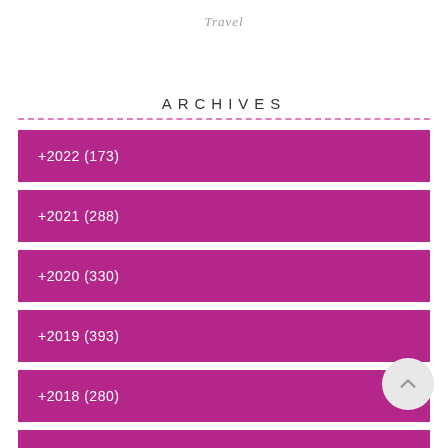Travel
ARCHIVES
+2022 (173)
+2021 (288)
+2020 (330)
+2019 (393)
+2018 (280)
+2017 (310)